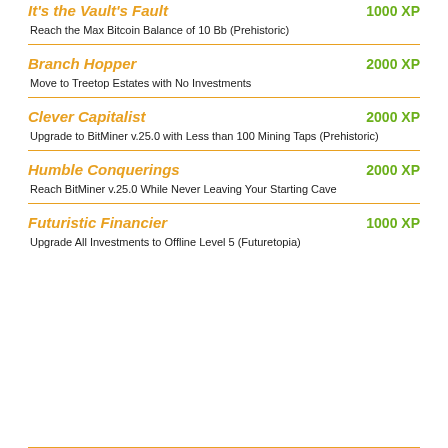It's the Vault's Fault
Reach the Max Bitcoin Balance of 10 Bb (Prehistoric)
Branch Hopper
Move to Treetop Estates with No Investments
Clever Capitalist
Upgrade to BitMiner v.25.0 with Less than 100 Mining Taps (Prehistoric)
Humble Conquerings
Reach BitMiner v.25.0 While Never Leaving Your Starting Cave
Futuristic Financier
Upgrade All Investments to Offline Level 5 (Futuretopia)